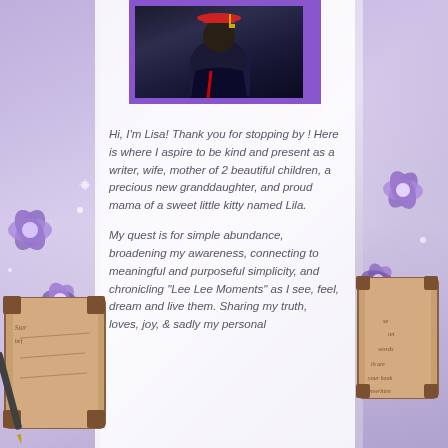[Figure (photo): Profile photo of a person wearing a graduation cap and dark clothing, framed in a purple border, positioned at the top center of the page]
Hi, I'm Lisa! Thank you for stopping by ! Here is where I aspire to be kind and present as a writer, wife, mother of 2 beautiful children, a precious new granddaughter, and proud mama of a sweet little kitty named Lila.
My quest is for simple abundance, broadening my awareness, connecting to meaningful and purposeful simplicity, and chronicling "Lee Lee Moments" as I see, feel, dream and live them. Sharing my truth, loves, joy, & sadly my personal